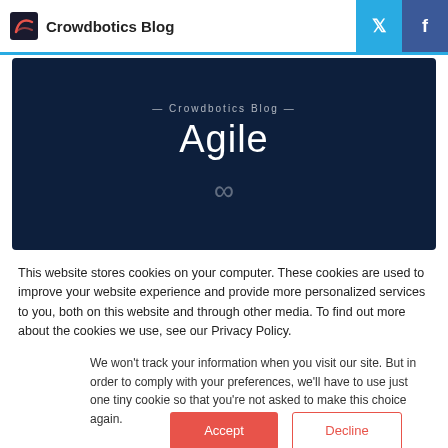Crowdbotics Blog
[Figure (illustration): Dark navy hero banner with centered text '— Crowdbotics Blog —' subtitle, large 'Agile' title, and infinity symbol below on dark background]
This website stores cookies on your computer. These cookies are used to improve your website experience and provide more personalized services to you, both on this website and through other media. To find out more about the cookies we use, see our Privacy Policy.
We won't track your information when you visit our site. But in order to comply with your preferences, we'll have to use just one tiny cookie so that you're not asked to make this choice again.